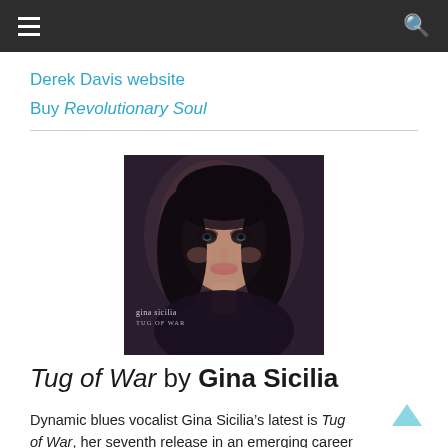≡ (menu) | Q (search)
Derek Davis website
Buy Revolutionary Soul
[Figure (photo): Album cover for Tug of War by Gina Sicilia. A woman with long dark hair and dark eye makeup looks at the camera on a dark background. Text overlay reads 'gina sicilia' and 'TUG OF WAR' in small type at the lower left.]
Tug of War by Gina Sicilia
Dynamic blues vocalist Gina Sicilia’s latest is Tug of War, her seventh release in an emerging career